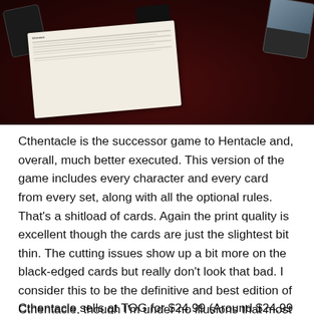[Figure (photo): Photo of card game components laid out on a dark red/maroon surface. Shows several black-edged cards, a small black box/container, and a white instruction card/paper with printed text in the center.]
Cthentacle is the successor game to Hentacle and, overall, much better executed. This version of the game includes every character and every card from every set, along with all the optional rules. That's a shitload of cards. Again the print quality is excellent though the cards are just the slightest bit thin. The cutting issues show up a bit more on the black-edged cards but really don't look that bad. I consider this to be the definitive and best edition of Cthentacle, though I'm under no illusions that most people buy it to actually play 😛
Cthentacle sells at TOG for $24.99 (Around $24.99 but...